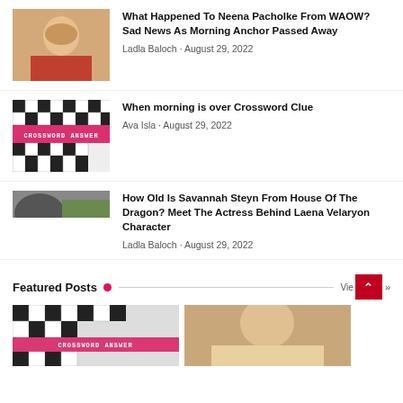[Figure (photo): Photo of a blonde woman smiling, wearing a red/orange top]
What Happened To Neena Pacholke From WAOW? Sad News As Morning Anchor Passed Away
Ladla Baloch · August 29, 2022
[Figure (photo): Crossword puzzle image with 'CROSSWORD ANSWER' text overlay on pink/red banner]
When morning is over Crossword Clue
Ava Isla · August 29, 2022
[Figure (photo): Partial photo of a dark-haired person]
How Old Is Savannah Steyn From House Of The Dragon? Meet The Actress Behind Laena Velaryon Character
Ladla Baloch · August 29, 2022
Featured Posts
[Figure (photo): Crossword puzzle thumbnail]
[Figure (photo): Blonde woman thumbnail]